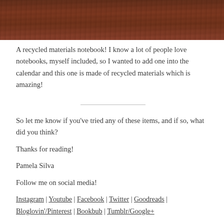[Figure (photo): Close-up photo of a dark reddish-brown wooden surface, likely a notebook cover, visible at the top of the page.]
A recycled materials notebook! I know a lot of people love notebooks, myself included, so I wanted to add one into the calendar and this one is made of recycled materials which is amazing!
So let me know if you've tried any of these items, and if so, what did you think?
Thanks for reading!
Pamela Silva
Follow me on social media!
Instagram | Youtube | Facebook | Twitter | Goodreads | Bloglovin'/Pinterest | Bookbub | Tumblr/Google+